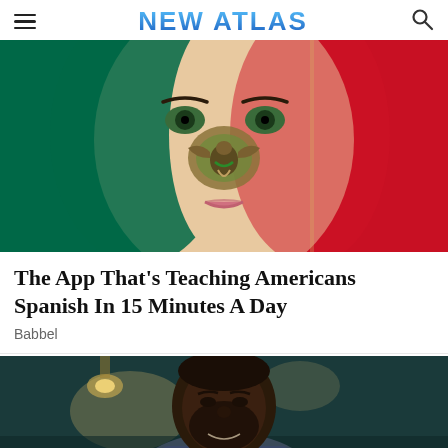NEW ATLAS
[Figure (photo): Woman with Mexican flag face paint, composite image with Mexican flag in background]
The App That's Teaching Americans Spanish In 15 Minutes A Day
Babbel
[Figure (photo): Smiling Black man looking down, photographed in a restaurant or cafe setting]